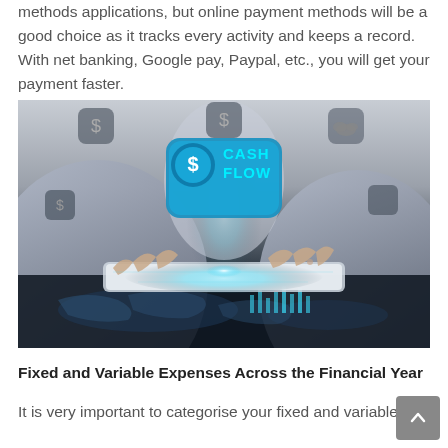methods applications, but online payment methods will be a good choice as it tracks every activity and keeps a record. With net banking, Google pay, Paypal, etc., you will get your payment faster.
[Figure (photo): A person in a business suit working on a glowing tablet displaying 'CASH FLOW' with a dollar sign icon, set against a dark reflective surface showing world map graphics and financial data visualizations.]
Fixed and Variable Expenses Across the Financial Year
It is very important to categorise your fixed and variable